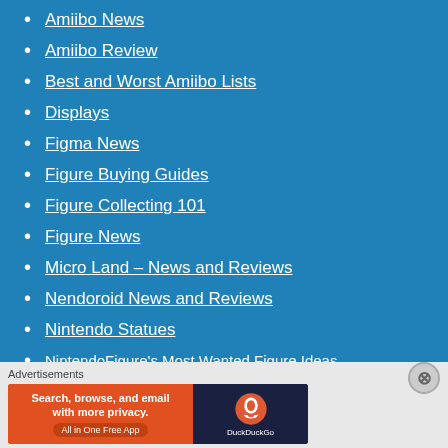Amiibo News
Amiibo Review
Best and Worst Amiibo Lists
Displays
Figma News
Figure Buying Guides
Figure Collecting 101
Figure News
Micro Land – News and Reviews
Nendoroid News and Reviews
Nintendo Statues
NintendoFigure's Most Wanted Figure Ideas
Other Nintendo Products
Other Video Game Figures
Advertisements
[Figure (screenshot): DuckDuckGo advertisement banner: 'Search, browse, and email with more privacy. All in One Free App' on orange background with DuckDuckGo logo on dark background.]